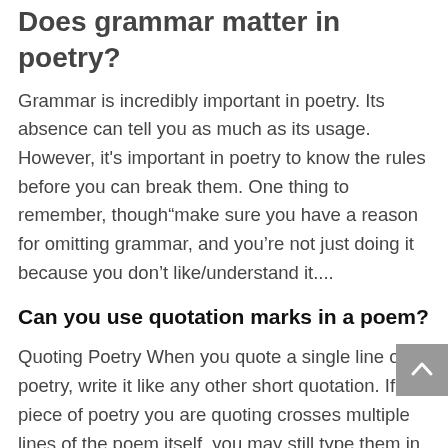Does grammar matter in poetry?
Grammar is incredibly important in poetry. Its absence can tell you as much as its usage. However, it's important in poetry to know the rules before you can break them. One thing to remember, though“make sure you have a reason for omitting grammar, and you’re not just doing it because you don’t like/understand it....
Can you use quotation marks in a poem?
Quoting Poetry When you quote a single line of poetry, write it like any other short quotation. If the piece of poetry you are quoting crosses multiple lines of the poem itself, you may still type them in your text run together. Show the reader where the poem’s line breaks fall by using slash marks